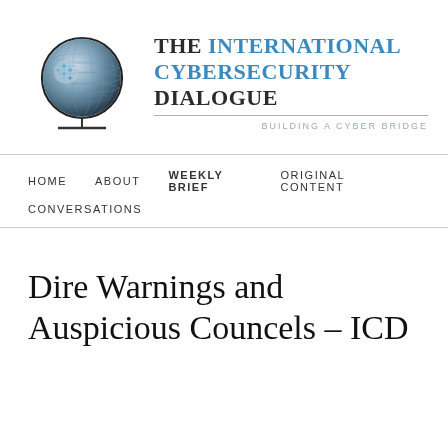[Figure (logo): Globe logo with circuit/digital pattern overlay, shown with a stand at the bottom, representing The International Cybersecurity Dialogue]
THE INTERNATIONAL CYBERSECURITY DIALOGUE
BUILDING A CYBER BRIDGE
HOME   ABOUT   WEEKLY BRIEF   ORIGINAL CONTENT
CONVERSATIONS
Dire Warnings and Auspicious Councels – ICD